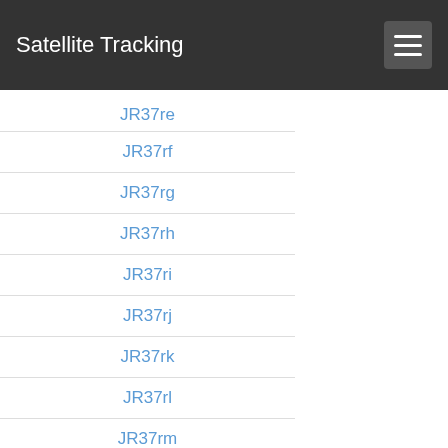Satellite Tracking
JR37re
JR37rf
JR37rg
JR37rh
JR37ri
JR37rj
JR37rk
JR37rl
JR37rm
JR37rn
JR37ro
JR37rp
JR37rq
JR37rr
JR37rs
JR37rt
JR37ru
JR37rv